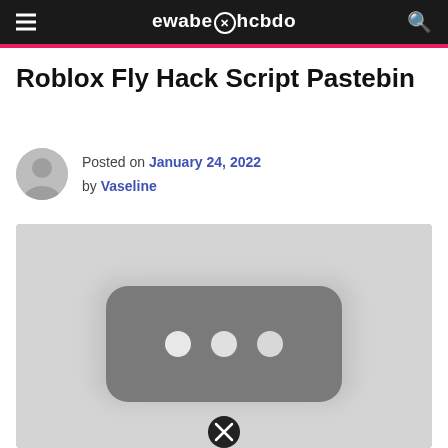ewabeⓧhcbdo
Roblox Fly Hack Script Pastebin
Posted on January 24, 2022 by Vaseline
[Figure (screenshot): Blurred/placeholder image with a rounded dark rectangle containing three white dots, and a close/remove circle icon at the bottom center]